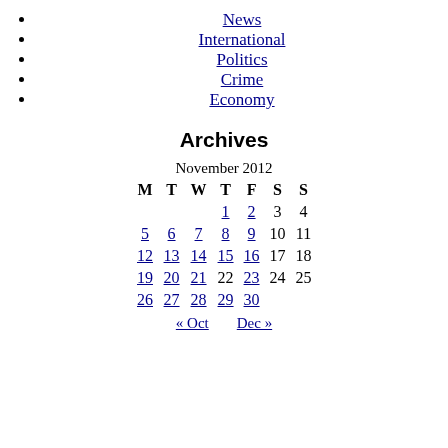News
International
Politics
Crime
Economy
Archives
| M | T | W | T | F | S | S |
| --- | --- | --- | --- | --- | --- | --- |
|  |  |  | 1 | 2 | 3 | 4 |
| 5 | 6 | 7 | 8 | 9 | 10 | 11 |
| 12 | 13 | 14 | 15 | 16 | 17 | 18 |
| 19 | 20 | 21 | 22 | 23 | 24 | 25 |
| 26 | 27 | 28 | 29 | 30 |  |  |
« Oct   Dec »